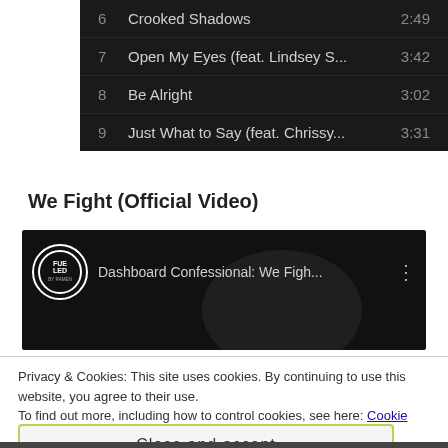| # | Title | Duration |
| --- | --- | --- |
| 6 | Crooked Shadows | 2:49 |
| 7 | Open My Eyes (feat. Lindsey S... | 3:42 |
| 8 | Be Alright | 3:02 |
| 9 | Just What to Say (feat. Chrissy... | 3:31 |
We Fight (Official Video)
[Figure (screenshot): YouTube-style video embed showing Dashboard Confessional: We Figh... with a channel logo (Fueled by Ramen) on the left and three-dot menu on the right, dark background]
Privacy & Cookies: This site uses cookies. By continuing to use this website, you agree to their use.
To find out more, including how to control cookies, see here: Cookie Policy
Close and accept